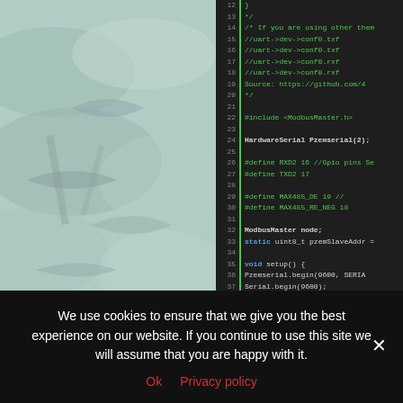[Figure (screenshot): Left half shows a blurry aerial/underwater photo with teal-green tones showing fish or aquatic shapes. Right half shows Arduino/C++ source code in a dark IDE with green syntax highlighting, line numbers 12-40, showing HardwareSerial, ModbusMaster, RS485 pin definitions, and setup() function.]
We use cookies to ensure that we give you the best experience on our website. If you continue to use this site we will assume that you are happy with it.
Ok   Privacy policy